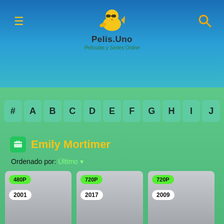[Figure (screenshot): Pelis.Uno website header with logo showing a cartoon chick character, site name 'Pelis.Uno' and subtitle 'Películas y Series Online' on blue gradient background]
Pelis.Uno — Películas y Series Online
# A B C D E F G H I J
Emily Mortimer
Ordenado por: Último ▾
[Figure (screenshot): Movie card 1: quality badge 480P, year 2001, grey placeholder image]
[Figure (screenshot): Movie card 2: quality badge 720P, year 2017, grey placeholder image]
[Figure (screenshot): Movie card 3: quality badge 720P, year 2009, grey placeholder image]